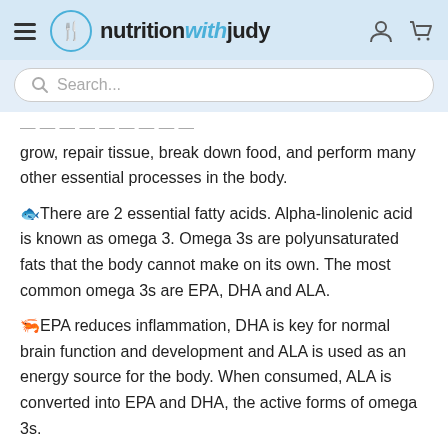nutritionwithjudy
grow, repair tissue, break down food, and perform many other essential processes in the body.
🐟There are 2 essential fatty acids. Alpha-linolenic acid is known as omega 3. Omega 3s are polyunsaturated fats that the body cannot make on its own. The most common omega 3s are EPA, DHA and ALA.
🦐EPA reduces inflammation, DHA is key for normal brain function and development and ALA is used as an energy source for the body. When consumed, ALA is converted into EPA and DHA, the active forms of omega 3s.